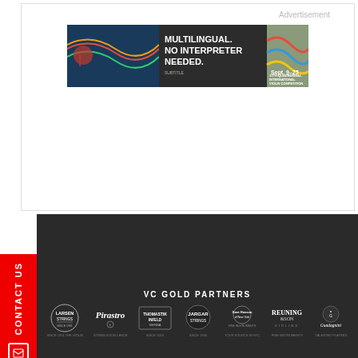Advertisement
[Figure (illustration): Banner advertisement for the 11th Quadrennial International Violin Competition in Indianapolis, Sept. 9-25. Text reads: MULTILINGUAL. NO INTERPRETER NEEDED. with colorful violin imagery.]
CONTACT US
VC GOLD PARTNERS
[Figure (logo): Larsen Strings logo]
[Figure (logo): Pirastro logo]
[Figure (logo): Thomastik Infeld Vienna logo]
[Figure (logo): Jargar Strings logo]
[Figure (logo): Gust Husson of New York logo]
[Figure (logo): Reuning and Son Violins logo]
[Figure (logo): Guadagnini logo]